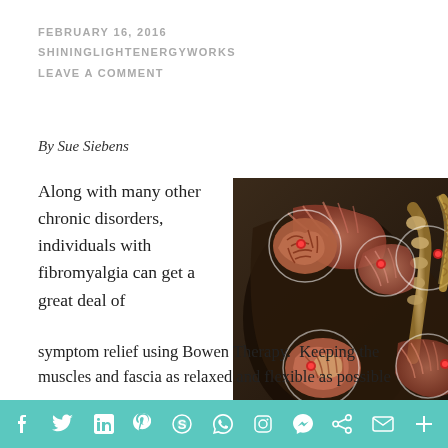FEBRUARY 16, 2016
SHININGLIGHTENERGYWORKS
LEAVE A COMMENT
By Sue Siebens
Along with many other chronic disorders, individuals with fibromyalgia can get a great deal of
[Figure (photo): Medical illustration of a person in pain with anatomical muscle overlays and red trigger points highlighted in circles]
symptom relief using Bowen Therapy.  Keeping the muscles and fascia as relaxed and flexible as possible
Social media share icons: Facebook, Twitter, LinkedIn, Pinterest, Reddit, WhatsApp, Instagram, Messenger, Share, Email, More